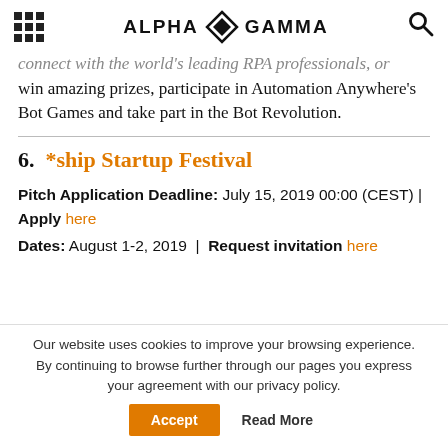Alpha Gamma
connect with the world's leading RPA professionals, or win amazing prizes, participate in Automation Anywhere's Bot Games and take part in the Bot Revolution.
6.  *ship Startup Festival
Pitch Application Deadline: July 15, 2019 00:00 (CEST) | Apply here
Dates: August 1-2, 2019 | Request invitation here
Our website uses cookies to improve your browsing experience. By continuing to browse further through our pages you express your agreement with our privacy policy.